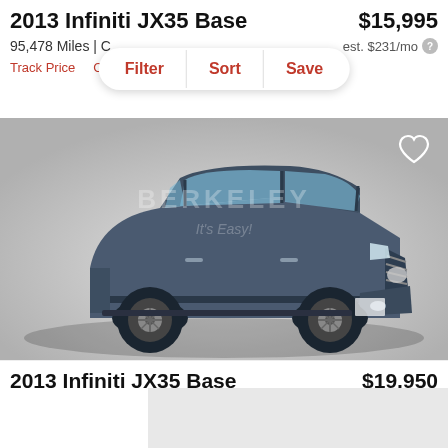2013 Infiniti JX35 Base
$15,995
95,478 Miles | C
est. $231/mo
Filter   Sort   Save
Track Price   Check Availability
[Figure (photo): 2013 Infiniti JX35 Base SUV in dark blue/grey color, photographed from front-left angle on a grey studio background. A heart/favorite icon is visible in the top right corner of the image.]
2013 Infiniti JX35 Base
$19,950